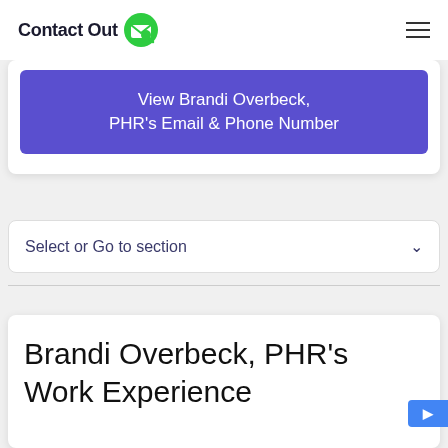ContactOut
View Brandi Overbeck, PHR's Email & Phone Number
Select or Go to section
Brandi Overbeck, PHR's Work Experience